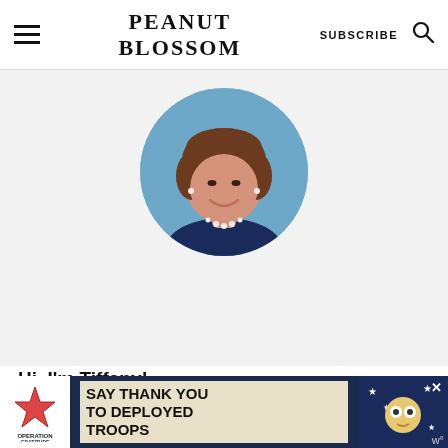PEANUT BLOSSOM | SUBSCRIBE
[Figure (photo): Circular portrait of a smiling woman with curly brown hair, wearing a navy top and pearl necklace, against a blue background.]
Hi, I'm Tiffany!
I believe a great family recipe is one that makes everyone at the table happy, not just the kids. I'm the
[Figure (infographic): Advertisement banner: Operation Gratitude - SAY THANK YOU TO DEPLOYED TROOPS]